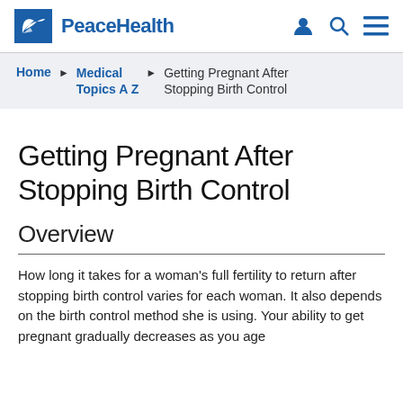PeaceHealth
Home ▶ Medical Topics A Z ▶ Getting Pregnant After Stopping Birth Control
Getting Pregnant After Stopping Birth Control
Overview
How long it takes for a woman's full fertility to return after stopping birth control varies for each woman. It also depends on the birth control method she is using. Your ability to get pregnant gradually decreases as you age